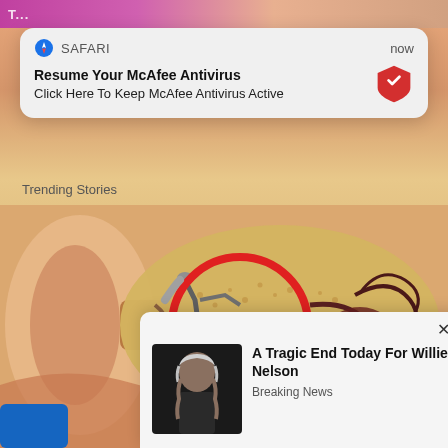[Figure (screenshot): Mobile browser screenshot showing a Safari notification popup for McAfee Antivirus, a 'Trending Stories' label, an anatomical ear diagram illustration with red circle highlight, a Willie Nelson news popup card, and partial blue/red buttons at bottom]
SAFARI   now
Resume Your McAfee Antivirus
Click Here To Keep McAfee Antivirus Active
Trending Stories
× A Tragic End Today For Willie Nelson
Breaking News